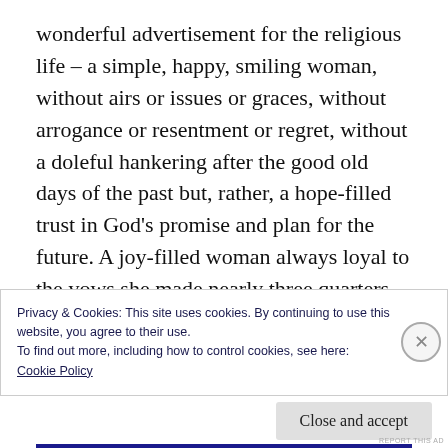wonderful advertisement for the religious life – a simple, happy, smiling woman, without airs or issues or graces, without arrogance or resentment or regret, without a doleful hankering after the good old days of the past but, rather, a hope-filled trust in God's promise and plan for the future. A joy-filled woman always loyal to the vows she made nearly three quarters of a century ago; a faith-filled woman who lived in love of God through humble service of others.
Privacy & Cookies: This site uses cookies. By continuing to use this website, you agree to their use.
To find out more, including how to control cookies, see here:
Cookie Policy
Close and accept